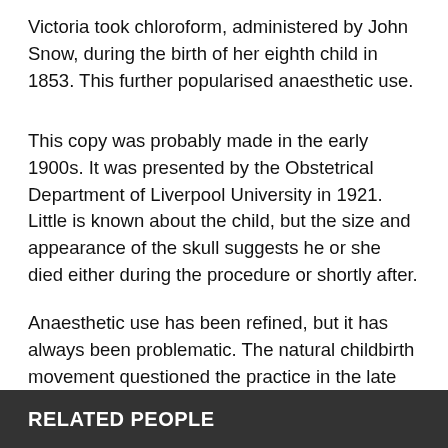Victoria took chloroform, administered by John Snow, during the birth of her eighth child in 1853. This further popularised anaesthetic use.
This copy was probably made in the early 1900s. It was presented by the Obstetrical Department of Liverpool University in 1921. Little is known about the child, but the size and appearance of the skull suggests he or she died either during the procedure or shortly after.
Anaesthetic use has been refined, but it has always been problematic. The natural childbirth movement questioned the practice in the late 1960s.
RELATED PEOPLE